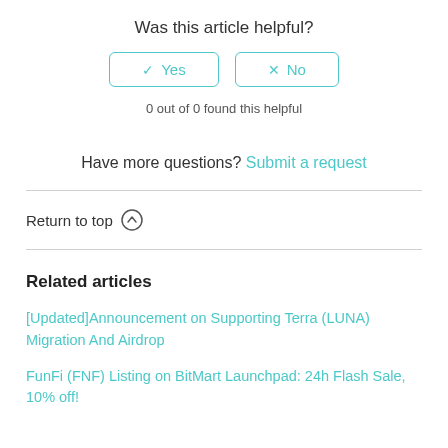Was this article helpful?
0 out of 0 found this helpful
Have more questions? Submit a request
Return to top
Related articles
[Updated]Announcement on Supporting Terra (LUNA) Migration And Airdrop
FunFi (FNF) Listing on BitMart Launchpad: 24h Flash Sale, 10% off!